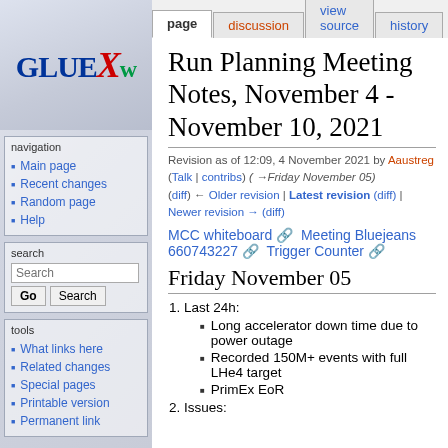[Figure (logo): GlueX logo — stylized text with G, LUE in dark blue, X in red italic, w in green]
navigation
Main page
Recent changes
Random page
Help
search
tools
What links here
Related changes
Special pages
Printable version
Permanent link
log in | page | discussion | view source | history
Run Planning Meeting Notes, November 4 - November 10, 2021
Revision as of 12:09, 4 November 2021 by Aaustreg (Talk | contribs) (→Friday November 05) (diff) ← Older revision | Latest revision (diff) | Newer revision → (diff)
MCC whiteboard ↗ Meeting Bluejeans 660743227 ↗ Trigger Counter ↗
Friday November 05
1. Last 24h:
Long accelerator down time due to power outage
Recorded 150M+ events with full LHe4 target
PrimEx EoR
2. Issues: